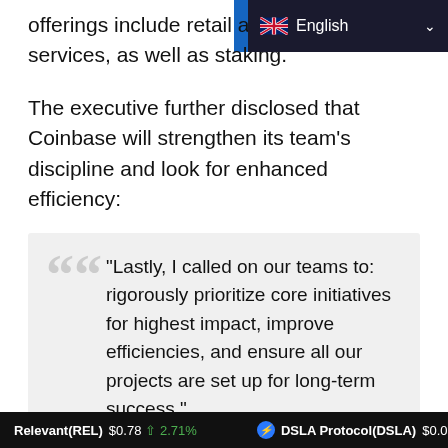English
offerings include retail and institutional services, as well as staking.
The executive further disclosed that Coinbase will strengthen its team's discipline and look for enhanced efficiency:
“Lastly, I called on our teams to: rigorously prioritize core initiatives for highest impact, improve efficiencies, and ensure all our projects are set up for long-term success.”
Relevant(REL) $0.78 ↑ 2.71% | DSLA Protocol(DSLA) $0.003679